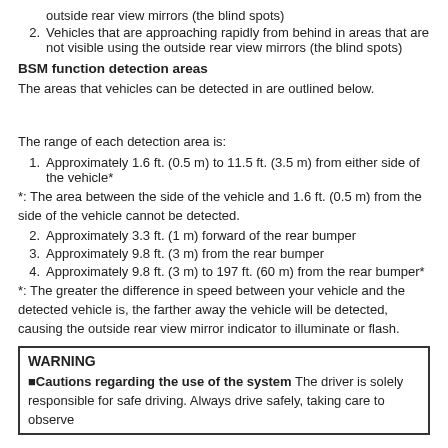outside rear view mirrors (the blind spots)
2. Vehicles that are approaching rapidly from behind in areas that are not visible using the outside rear view mirrors (the blind spots)
BSM function detection areas
The areas that vehicles can be detected in are outlined below.
The range of each detection area is:
1. Approximately 1.6 ft. (0.5 m) to 11.5 ft. (3.5 m) from either side of the vehicle*
*: The area between the side of the vehicle and 1.6 ft. (0.5 m) from the side of the vehicle cannot be detected.
2. Approximately 3.3 ft. (1 m) forward of the rear bumper
3. Approximately 9.8 ft. (3 m) from the rear bumper
4. Approximately 9.8 ft. (3 m) to 197 ft. (60 m) from the rear bumper*
*: The greater the difference in speed between your vehicle and the detected vehicle is, the farther away the vehicle will be detected, causing the outside rear view mirror indicator to illuminate or flash.
WARNING
■Cautions regarding the use of the system The driver is solely responsible for safe driving. Always drive safely, taking care to observe